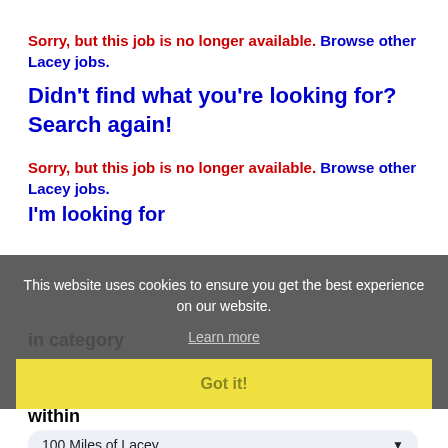Sorry, but this job is no longer available. Browse other Lacey jobs.
Didn't find what you're looking for? Search again!
Sorry, but this job is no longer available. Browse other Lacey jobs.
I'm looking for
This website uses cookies to ensure you get the best experience on our website.
Learn more
Got it!
in category
ALL
within
100 Miles of Lacey